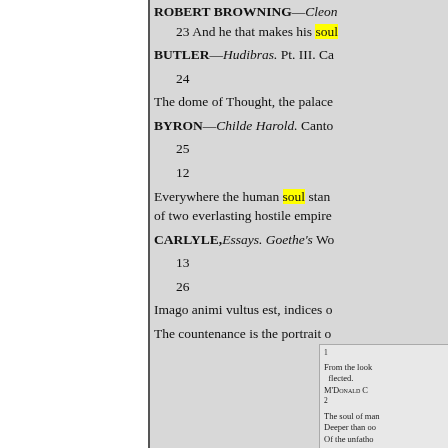ROBERT BROWNING—Cleon
23 And he that makes his soul
BUTLER—Hudibras. Pt. III. Ca
24
The dome of Thought, the palace
BYRON—Childe Harold. Canto
25
12
Everywhere the human soul stands between a hemisphere of light and a hemisphere of darkness on the confines of two everlasting hostile empires
CARLYLE, Essays. Goethe's Wo
13
26
Imago animi vultus est, indices o
The countenance is the portrait o
1 From the looks reflected. M'DONALD C 2 The soul of man Deeper than oo Of the unfather